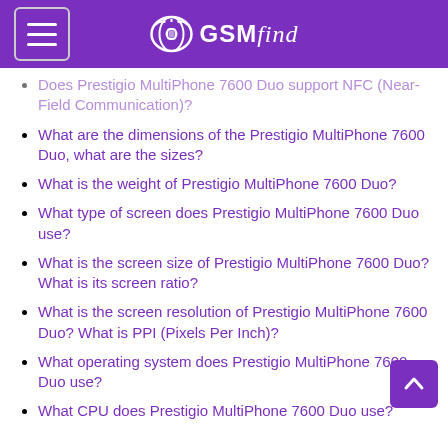GSMfind
Does Prestigio MultiPhone 7600 Duo support NFC (Near-Field Communication)?
What are the dimensions of the Prestigio MultiPhone 7600 Duo, what are the sizes?
What is the weight of Prestigio MultiPhone 7600 Duo?
What type of screen does Prestigio MultiPhone 7600 Duo use?
What is the screen size of Prestigio MultiPhone 7600 Duo? What is its screen ratio?
What is the screen resolution of Prestigio MultiPhone 7600 Duo? What is PPI (Pixels Per Inch)?
What operating system does Prestigio MultiPhone 7600 Duo use?
What CPU does Prestigio MultiPhone 7600 Duo use?